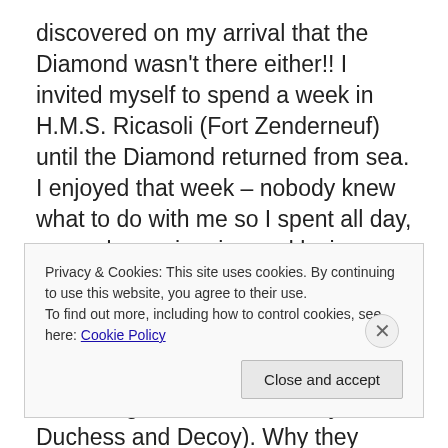discovered on my arrival that the Diamond wasn't there either!!  I invited myself to spend a week in H.M.S. Ricasoli (Fort Zenderneuf) until the Diamond returned from sea.  I enjoyed that week – nobody knew what to do with me so I spent all day, every day, swimming and lazing around the Fleet Lido drinking Pepsi Cola.  So we both served on Daring class destroyers (although we were leader of the 5th Cruiser Squadron – consisting of Diamond, Dainty, Duchess and Decoy).  Why they decided to call us 'cruisers' only some pen pusher at 'Our Lords Commissioners of the Admiralty will ever know.  I don't
Privacy & Cookies: This site uses cookies. By continuing to use this website, you agree to their use.
To find out more, including how to control cookies, see here: Cookie Policy